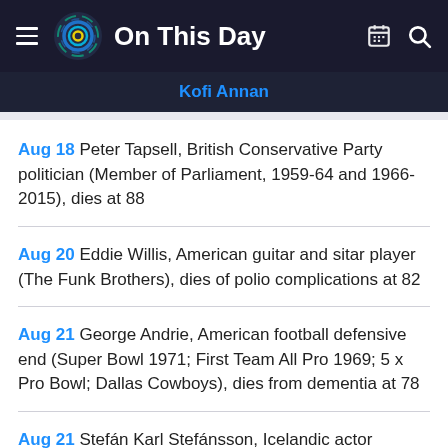On This Day
Kofi Annan
Aug 18 Peter Tapsell, British Conservative Party politician (Member of Parliament, 1959-64 and 1966-2015), dies at 88
Aug 20 Eddie Willis, American guitar and sitar player (The Funk Brothers), dies of polio complications at 82
Aug 21 George Andrie, American football defensive end (Super Bowl 1971; First Team All Pro 1969; 5 x Pro Bowl; Dallas Cowboys), dies from dementia at 78
Aug 21 Stefán Karl Stefánsson, Icelandic actor (Lazytown),